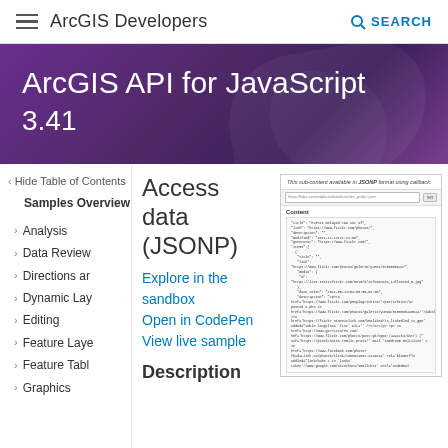ArcGIS Developers    SEARCH
ArcGIS API for JavaScript 3.41
< Hide Table of Contents
Samples Overview
> Analysis
> Data Review
> Directions ar
> Dynamic Lay
> Editing
> Feature Layer
> Feature Tabl
> Graphics
Access data (JSONP)
Explore in the sandbox
Open in CodePen
View live sample
[Figure (screenshot): Screenshot of a browser showing JSONP data in JSON format with code content]
Description